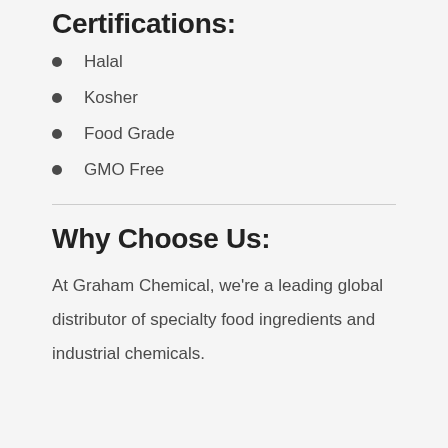Certifications:
Halal
Kosher
Food Grade
GMO Free
Why Choose Us:
At Graham Chemical, we're a leading global distributor of specialty food ingredients and industrial chemicals.